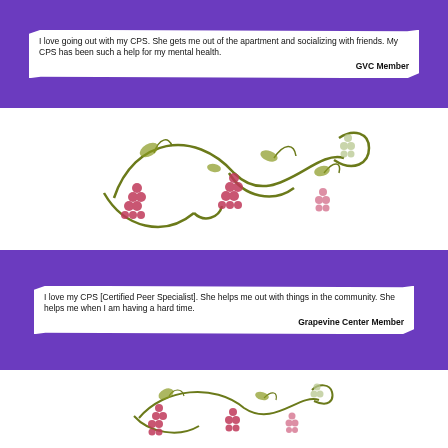[Figure (photo): Purple banner with torn white paper note reading: 'I love going out with my CPS. She gets me out of the apartment and socializing with friends. My CPS has been such a help for my mental health.' attributed to GVC Member]
[Figure (illustration): Decorative grapevine flourish with swirling olive/gold tendrils and clusters of pink/purple grapes on white background]
[Figure (photo): Purple banner with torn white paper note reading: 'I love my CPS [Certified Peer Specialist]. She helps me out with things in the community. She helps me when I am having a hard time.' attributed to Grapevine Center Member]
[Figure (illustration): Smaller decorative grapevine flourish with swirling olive/gold tendrils and clusters of pink/purple grapes on white background]